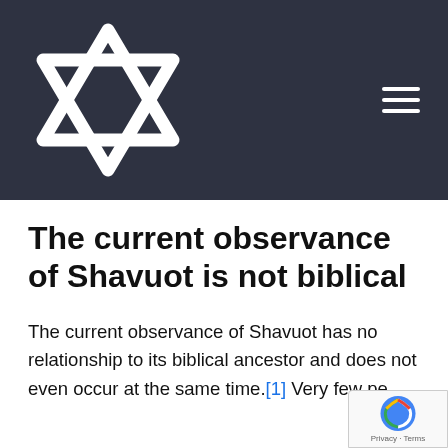[Figure (illustration): Dark navy header bar with a white Star of David symbol on the left and a hamburger menu icon (three horizontal lines) on the right]
The current observance of Shavuot is not biblical
The current observance of Shavuot has no relationship to its biblical ancestor and does not even occur at the same time.[1] Very few pe...